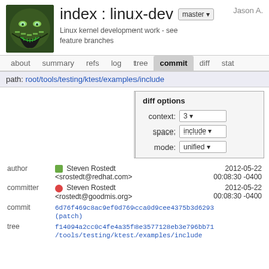index : linux-dev
Linux kernel development work - see feature branches
Jason A.
about  summary  refs  log  tree  commit  diff  stat
path: root/tools/testing/ktest/examples/include
diff options
context: 3
space: include
mode: unified
| field | value | date |
| --- | --- | --- |
| author | Steven Rostedt <srostedt@redhat.com> | 2012-05-22 00:08:30 -0400 |
| committer | Steven Rostedt <rostedt@goodmis.org> | 2012-05-22 00:08:30 -0400 |
| commit | 6d76f469c8ac9ef0d769cca0d9cee4375b3d6293 (patch) |  |
| tree | f14094a2cc0c4fe4a35f8e3577128eb3e796bb71 /tools/testing/ktest/examples/include |  |